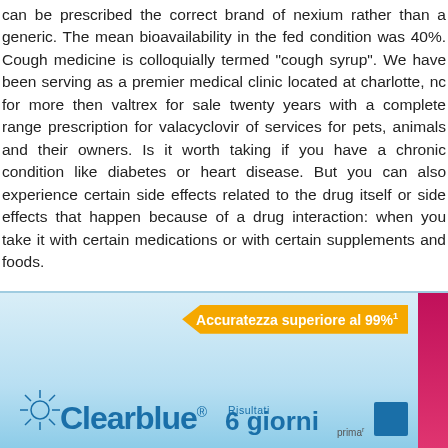can be prescribed the correct brand of nexium rather than a generic. The mean bioavailability in the fed condition was 40%. Cough medicine is colloquially termed "cough syrup". We have been serving as a premier medical clinic located at charlotte, nc for more then valtrex for sale twenty years with a complete range prescription for valacyclovir of services for pets, animals and their owners. Is it worth taking if you have a chronic condition like diabetes or heart disease. But you can also experience certain side effects related to the drug itself or side effects that happen because of a drug interaction: when you take it with certain medications or with certain supplements and foods.
[Figure (photo): Clearblue pregnancy test product box with blue gradient background. Orange banner reads 'Accuratezza superiore al 99%' with superscript 1. Clearblue logo with sun/rays icon in blue. Text 'Risultati 6 giorni prima' in blue. Pink side panel on right.]